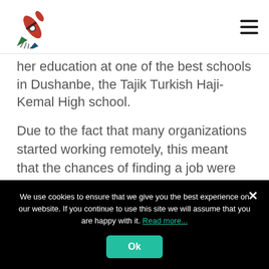[Logo] [Hamburger menu]
her education at one of the best schools in Dushanbe, the Tajik Turkish Haji-Kemal High school.
Due to the fact that many organizations started working remotely, this meant that the chances of finding a job were too small. But one day, one of her friends suggested her to submit her documents to an online platform that was looking for a teacher for additional classes with schoolchildren. This was one of the best options, since the work was remote.
We use cookies to ensure that we give you the best experience on our website. If you continue to use this site we will assume that you are happy with it. Read more...
Ok